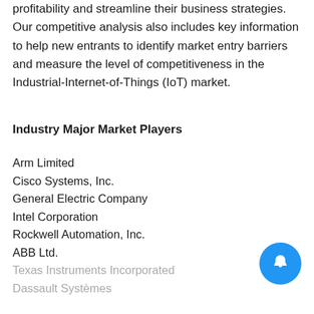profitability and streamline their business strategies. Our competitive analysis also includes key information to help new entrants to identify market entry barriers and measure the level of competitiveness in the Industrial-Internet-of-Things (IoT) market.
Industry Major Market Players
Arm Limited
Cisco Systems, Inc.
General Electric Company
Intel Corporation
Rockwell Automation, Inc.
ABB Ltd.
Texas Instruments Incorporated
Dassault Systèmes